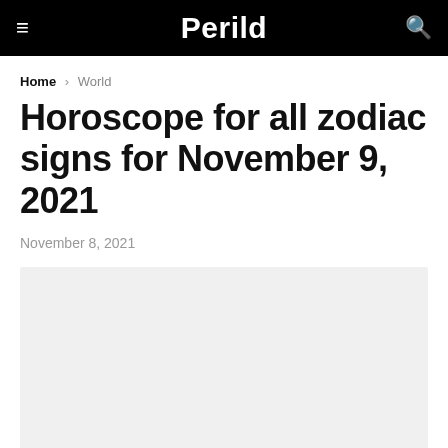Perild
Home › World
Horoscope for all zodiac signs for November 9, 2021
November 8, 2021
[Figure (photo): Article image placeholder — light gray rectangle]